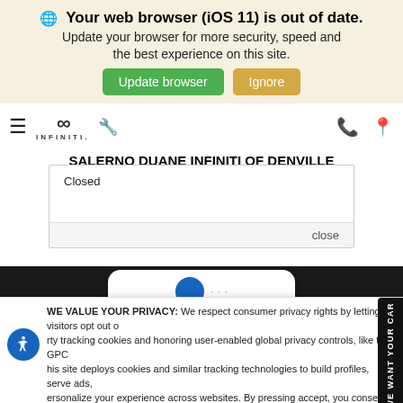[Figure (screenshot): Browser update banner with globe icon, bold warning text, Update browser (green) and Ignore (tan) buttons]
[Figure (screenshot): Infiniti dealership website navigation bar with hamburger menu, Infiniti logo, wrench icon, phone and location icons]
SALERNO DUANE INFINITI OF DENVILLE
Closed
close
[Figure (screenshot): Privacy consent overlay with accessibility icon, WE VALUE YOUR PRIVACY text, language selector, Accept and Continue button, Privacy Policy button, and WE WANT YOUR CAR side tab]